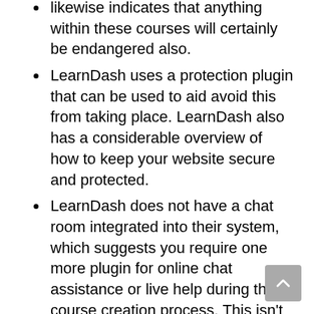likewise indicates that anything within these courses will certainly be endangered also.
LearnDash uses a protection plugin that can be used to aid avoid this from taking place. LearnDash also has a considerable overview of how to keep your website secure and protected.
LearnDash does not have a chat room integrated into their system, which suggests you require one more plugin for online chat assistance or live help during the course creation process. This isn't excellent considering that it is very important students feel they can